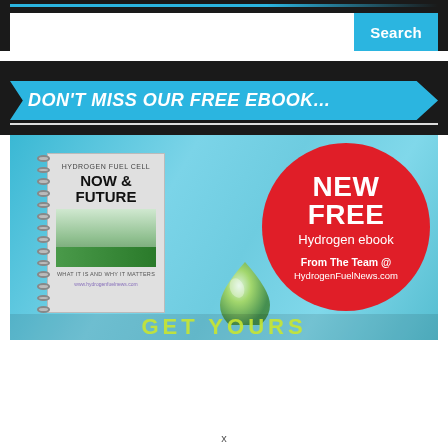[Figure (screenshot): Website header section with dark background showing a search bar with white input field and cyan 'Search' button]
DON'T MISS OUR FREE EBOOK...
[Figure (illustration): Advertisement banner for a free Hydrogen Fuel Cell ebook titled 'Now & Future'. Shows a spiral-bound book cover on the left and a red circle on the right with 'NEW FREE Hydrogen ebook From The Team @ HydrogenFuelNews.com'. Background is a blue/cyan color with a water droplet graphic.]